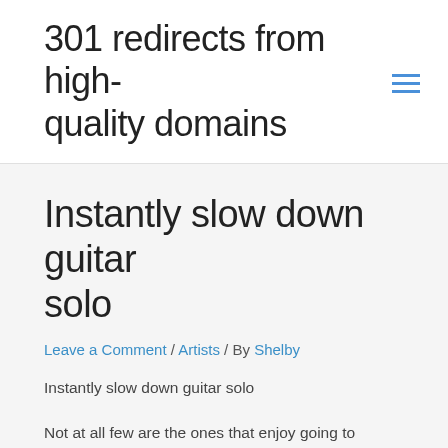301 redirects from high-quality domains
Instantly slow down guitar solo
Leave a Comment / Artists / By Shelby
Instantly slow down guitar solo
Not at all few are the ones that enjoy going to concerts, regardless of age, favorite music genre or other preferences such as band and/or location. People enjoy going to concerts because their favorite artists or some classic legends are performing at a distance so close to them that it makes everything dream-like. For this reason, amateurs have always tried to reproduce their idol's